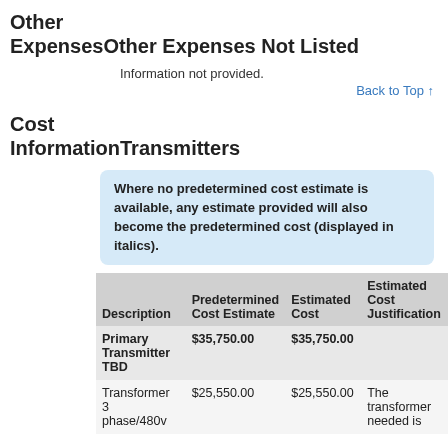Other Expenses
Other Expenses Not Listed
Information not provided.
Back to Top ↑
Cost Information
Transmitters
Where no predetermined cost estimate is available, any estimate provided will also become the predetermined cost (displayed in italics).
| Description | Predetermined Cost Estimate | Estimated Cost | Estimated Cost Justification |
| --- | --- | --- | --- |
| Primary Transmitter TBD | $35,750.00 | $35,750.00 |  |
| Transformer 3 phase/480v | $25,550.00 | $25,550.00 | The transformer needed is |